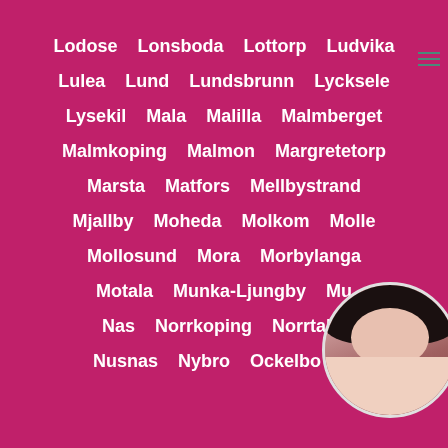Lodose  Lonsboda  Lottorp  Ludvika
Lulea  Lund  Lundsbrunn  Lycksele
Lysekil  Mala  Malilla  Malmberget
Malmkoping  Malmon  Margretetorp
Marsta  Matfors  Mellbystrand
Mjallby  Moheda  Molkom  Molle
Mollosund  Mora  Morbylanga
Motala  Munka-Ljungby  Mu...
Nas  Norrkoping  Norrtalje...
Nusnas  Nybro  Ockelbo  O...
[Figure (photo): Circular portrait photo of a woman with dark hair, partially visible in bottom-right corner]